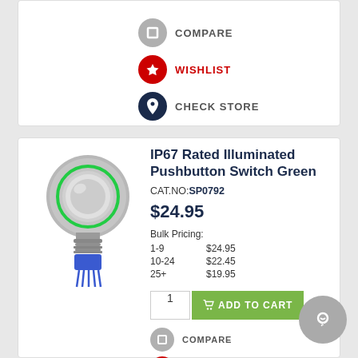[Figure (infographic): Action buttons: Compare (grey circle with square icon), Wishlist (red circle with star icon), Check Store (dark blue circle with location pin icon) in top card]
[Figure (photo): IP67 Rated Illuminated Pushbutton Switch Green product photo - metal push button switch with green LED ring and blue connector pins]
IP67 Rated Illuminated Pushbutton Switch Green
CAT.NO:SP0792
$24.95
Bulk Pricing:
1-9   $24.95
10-24 $22.45
25+   $19.95
[Figure (infographic): Add to Cart section: quantity input field showing 1, green ADD TO CART button with cart icon]
[Figure (infographic): Action buttons: Compare (grey circle with square icon), Wishlist (red circle with star icon) partially visible at bottom]
[Figure (infographic): Chat support bubble icon (grey circle with Q/chat icon) at bottom right]